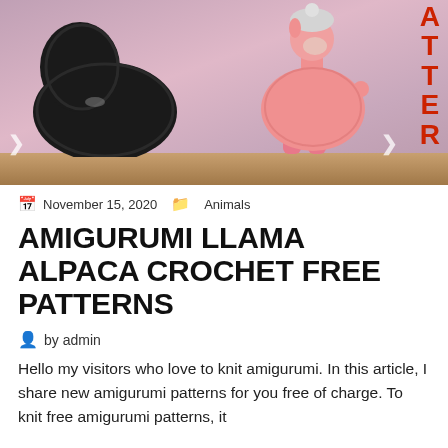[Figure (photo): Two crocheted amigurumi llama/alpaca toys — a black fluffy one on the left and a pink fluffy one on the right — placed on a wooden surface with a pink blurred background. Partial red text 'ATTER' visible on the right edge.]
November 15, 2020   Animals
AMIGURUMI LLAMA ALPACA CROCHET FREE PATTERNS
by admin
Hello my visitors who love to knit amigurumi. In this article, I share new amigurumi patterns for you free of charge. To knit free amigurumi patterns, it